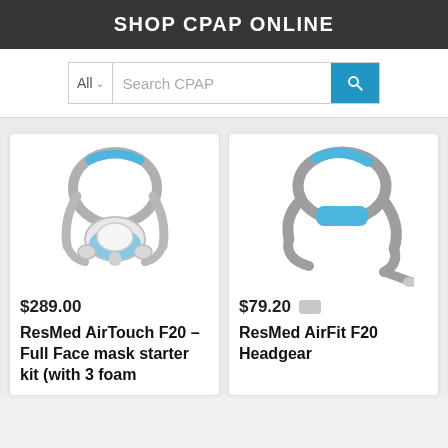SHOP CPAP ONLINE
All  Search CPAP
[Figure (photo): ResMed AirTouch F20 full face CPAP mask with headgear, gray and blue colors]
$289.00
ResMed AirTouch F20 – Full Face mask starter kit (with 3 foam
[Figure (photo): ResMed AirFit F20 headgear, blue and gray, shown without mask cushion]
$79.20
ResMed AirFit F20 Headgear